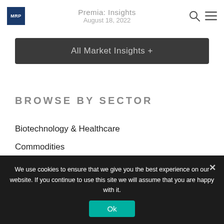MRP | Premia: Insights | August 18, 2022
All Market Insights +
BROWSE BY SECTOR
Biotechnology & Healthcare
Commodities
Economics & Trade
We use cookies to ensure that we give you the best experience on our website. If you continue to use this site we will assume that you are happy with it.
Ok